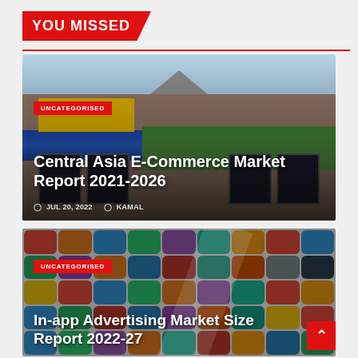YOU MISSED
[Figure (photo): Storefront of a closing retail store with blue awning and yellow signage, showing store closing banners]
UNCATEGORISED
Central Asia E-Commerce Market Report 2021-2026
JUL 20, 2022  KAMAL
[Figure (photo): Colorful mobile app icons grid background with a hand holding a phone]
UNCATEGORISED
In-app Advertising Market Size Report 2022-27